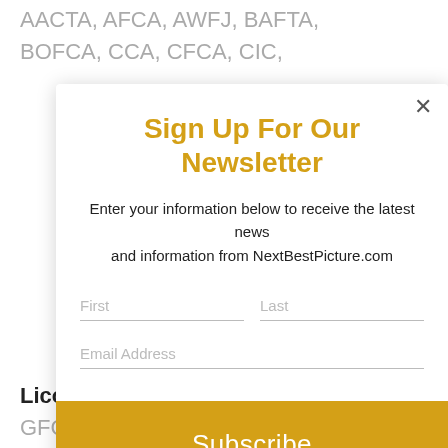AACTA, AFCA, AWFJ, BAFTA, BOFCA, CCA, CFCA, CIC,
[Figure (screenshot): Newsletter sign-up modal dialog with title 'Sign Up For Our Newsletter', subtitle text, First/Last name fields, Email Address field, and a yellow Subscribe button]
Licorice Pizza (5) - AFCC, GFCA, NBR, OFCC, StLFCA